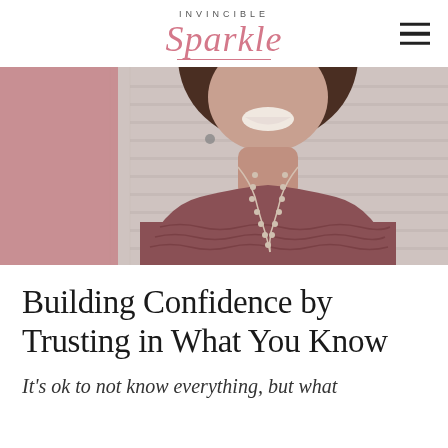INVINCIBLE Sparkle
[Figure (photo): A smiling woman with a bob haircut wearing a mauve/dusty rose knit sweater with a delicate chain necklace, photographed from the shoulders up against a white shiplap background. A pink rectangular block overlays the left side of the image.]
Building Confidence by Trusting in What You Know
It’s ok to not know everything, but what